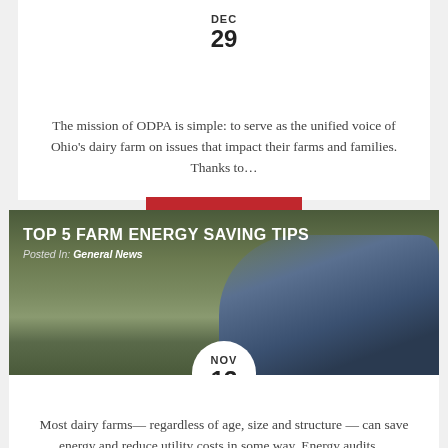[Figure (photo): Partial photo of dairy farm scene with date badge showing DEC 29]
The mission of ODPA is simple: to serve as the unified voice of Ohio’s dairy farm on issues that impact their farms and families. Thanks to…
READ POST
[Figure (photo): Photo of a person crouching in a farm field with text overlay: TOP 5 FARM ENERGY SAVING TIPS, Posted In: General News, date badge NOV 13]
TOP 5 FARM ENERGY SAVING TIPS
Posted In: General News
Most dairy farms— regardless of age, size and structure — can save energy and reduce utility costs in some way. Energy audits…